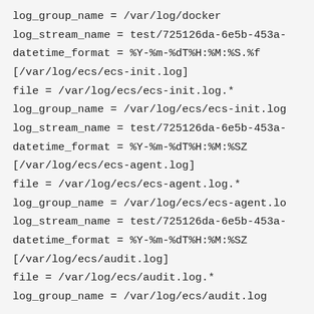log_group_name = /var/log/docker
log_stream_name = test/725126da-6e5b-453a-
datetime_format = %Y-%m-%dT%H:%M:%S.%f
[/var/log/ecs/ecs-init.log]
file = /var/log/ecs/ecs-init.log.*
log_group_name = /var/log/ecs/ecs-init.log
log_stream_name = test/725126da-6e5b-453a-
datetime_format = %Y-%m-%dT%H:%M:%SZ
[/var/log/ecs/ecs-agent.log]
file = /var/log/ecs/ecs-agent.log.*
log_group_name = /var/log/ecs/ecs-agent.lo
log_stream_name = test/725126da-6e5b-453a-
datetime_format = %Y-%m-%dT%H:%M:%SZ
[/var/log/ecs/audit.log]
file = /var/log/ecs/audit.log.*
log_group_name = /var/log/ecs/audit.log